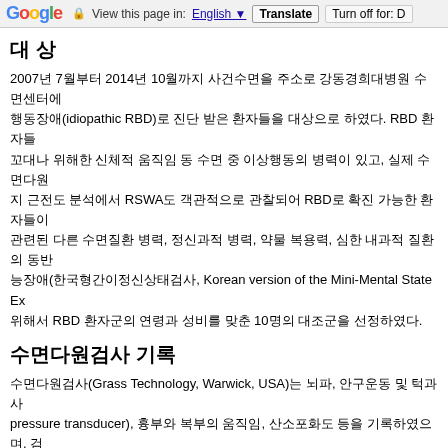Google | View this page in: English | Translate | Turn off for: D
대 상
2007년 7월부터 2014년 10월까지 사건수면을 주소로 강동경희대병원 수면센터에서 특발성 렘수면 행동장애(idiopathic RBD)로 진단 받은 환자들을 대상으로 하였다. RBD 환자들은 꿈을 행동으로 옮기려 꼬대나 위해한 신체적 움직임 동 수면 중 이상행동의 병력이 있고, 실제 수면다원검사상 턱과 다리 근전도 분석에서 RSWA도 객관적으로 관찰되어 RBD로 확진 가능한 환자들이었다. 뇌전증과 관련된 다른 수면질환 병력, 정신과적 병력, 약물 복용력, 심한 내과적 질환의 동반이환, 인지기 능장애(한국형간이정신상태검사, Korean version of the Mini-Mental State Ex... 위해서 RBD 환자군의 연령과 성비를 맞춘 10명의 대조군을 선정하였다.
수면다원검사 기록
수면다원검사(Grass Technology, Warwick, USA)는 뇌파, 안구운동 및 턱과 사... pressure transducer), 흉부와 복부의 움직임, 산소포화도 등을 기록하였으며, 검... 파악도 병행하였다.
REM sleep without atonia의 정량화는 두 가지 방법으로 진행하였다. 첫 번째 방... 으로, 렘수면 중 관찰된 근전도의 증가 소견을 각각 긴장성 움직임(tonic activity)
한 전체 RSWA를 구하였다.⁶ 긴장성 움직임은 30초로 지정된 한 에포크에서, 기... 50% 이상 연속적으로 존재할 때로 정의하였으며(RSWA-T), 전체 렘수면 시간 중... 과 전체 렘수면의 에포크 개수 중 긴장성 움직임을 보인 에포크 개수의 비율(RSW... 로 나눈 3초 단위의 미니 에포크로 나눈 뒤, 4배 이상으로 진폭이 증가된 근전도 소... 개 이상 존재할 때로 정의하였고(RS-WA-P), 전체 렘수면 시간 중 위상성 움직임...